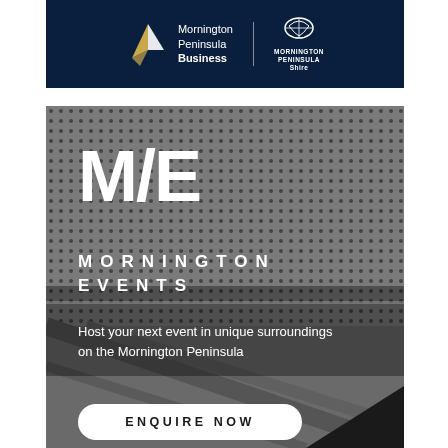[Figure (logo): Mornington Peninsula Business logo and Mornington Peninsula Shire logo on dark navy background]
[Figure (photo): Mornington Events promotional image showing interior ceiling with perforated panels. Large M/E text in white, followed by MORNINGTON EVENTS in spaced capitals, tagline 'Host your next event in unique surroundings on the Mornington Peninsula', and an ENQUIRE NOW button.]